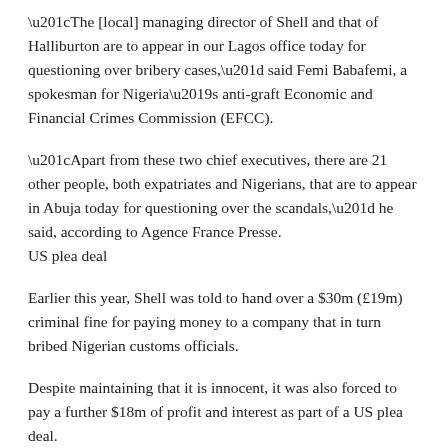“The [local] managing director of Shell and that of Halliburton are to appear in our Lagos office today for questioning over bribery cases,” said Femi Babafemi, a spokesman for Nigeria’s anti-graft Economic and Financial Crimes Commission (EFCC).
“Apart from these two chief executives, there are 21 other people, both expatriates and Nigerians, that are to appear in Abuja today for questioning over the scandals,” he said, according to Agence France Presse.
US plea deal
Earlier this year, Shell was told to hand over a $30m (£19m) criminal fine for paying money to a company that in turn bribed Nigerian customs officials.
Despite maintaining that it is innocent, it was also forced to pay a further $18m of profit and interest as part of a US plea deal.
Now Nigeria’s anti-fraud police – the Economic and Financial Crimes Commission – say new developments in the case mean they want to